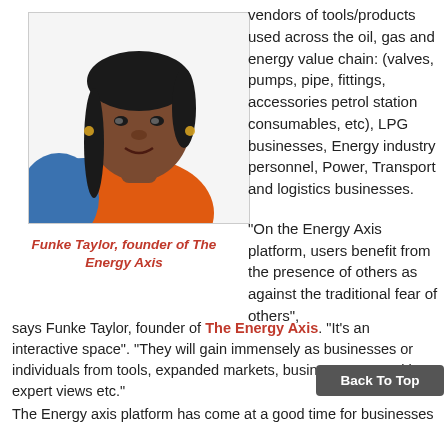[Figure (photo): Portrait photo of Funke Taylor, a woman wearing an orange top and blue jacket, with braided hair, smiling at the camera against a white background.]
Funke Taylor, founder of The Energy Axis
vendors of tools/products used across the oil, gas and energy value chain: (valves, pumps, pipe, fittings, accessories petrol station consumables, etc), LPG businesses, Energy industry personnel, Power, Transport and logistics businesses.
“On the Energy Axis platform, users benefit from the presence of others as against the traditional fear of others”, says Funke Taylor, founder of The Energy Axis. “It’s an interactive space”.  “They will gain immensely as businesses or individuals from tools, expanded markets, business opportunities, expert views etc.”
The Energy axis platform has come at a good time for businesses